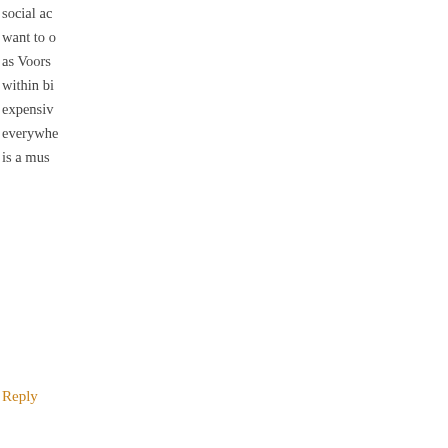social ac... want to ... as Voors... within bi... expensiv... everywhe... is a mus...
Reply
Leave a Reply to admin@theleidene...
Enter your comment here...
Search
Hit Co...
Log in
Entries feed
Comments feed
868,81...